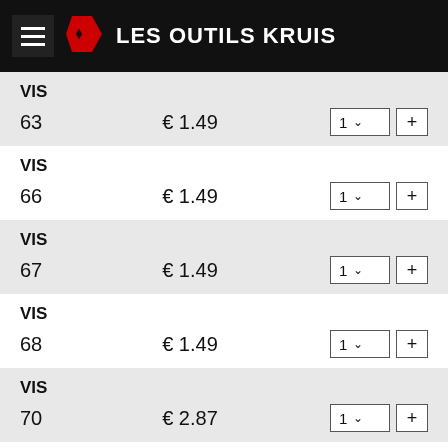LES OUTILS KRUIS
| Product | Price | Qty | Add |
| --- | --- | --- | --- |
| VIS 63 | € 1.49 | 1 | + |
| VIS 66 | € 1.49 | 1 | + |
| VIS 67 | € 1.49 | 1 | + |
| VIS 68 | € 1.49 | 1 | + |
| VIS 70 | € 2.87 | 1 | + |